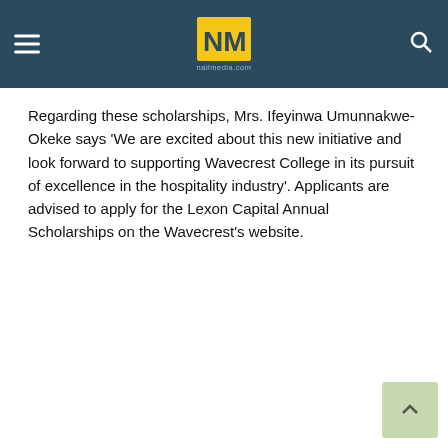naimobile.com
Regarding these scholarships, Mrs. Ifeyinwa Umunnakwe-Okeke says ‘We are excited about this new initiative and look forward to supporting Wavecrest College in its pursuit of excellence in the hospitality industry’. Applicants are advised to apply for the Lexon Capital Annual Scholarships on the Wavecrest’s website.